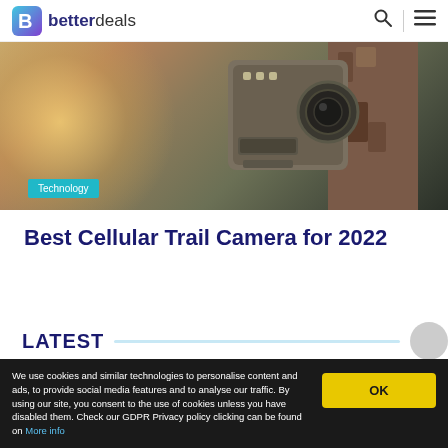betterdeals
[Figure (photo): A trail camera mounted on a bark/stone surface, close-up shot with blurred background. Technology badge overlay at bottom left.]
Best Cellular Trail Camera for 2022
LATEST
We use cookies and similar technologies to personalise content and ads, to provide social media features and to analyse our traffic. By using our site, you consent to the use of cookies unless you have disabled them. Check our GDPR Privacy policy clicking can be found on More info